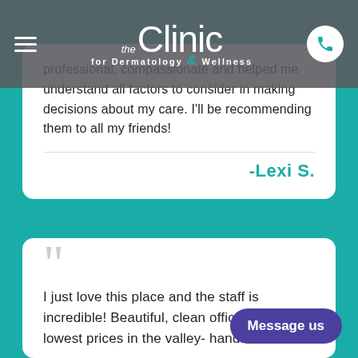the Clinic for Dermatology & Wellness
professional, compassionate and helped me understand all factors to consider in making decisions about my care. I'll be recommending them to all my friends!
-Lexi S.
I just love this place and the staff is incredible! Beautiful, clean office and the lowest prices in the valley- hands down
Message us